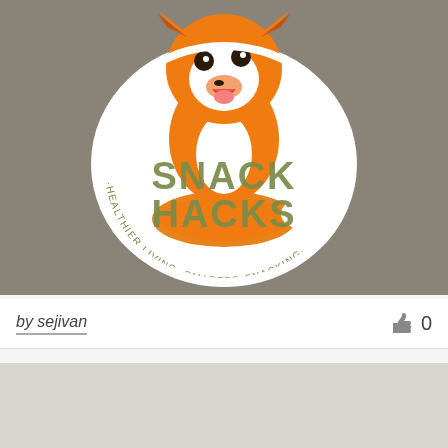[Figure (logo): Snack Hacks logo: a cartoon fox character with orange fur, wide eyes and open mouth, overlaid on a circular badge. Large olive/sage green text reads 'SNACK HACKS' across the middle. Curved text around the bottom reads '-HEALTHIER LIVING, SMARTER SNACKING-'. White sticker-style border around the whole badge. Background is a muted taupe/grey-brown color.]
by sejivan
[Figure (illustration): Partial second image visible at the bottom of the page, showing a light grey/beige background, likely another logo or design entry.]